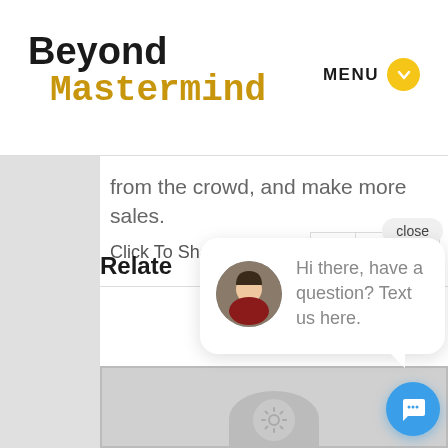[Figure (screenshot): Beyond Mastermind website header with logo and MENU button]
from the crowd, and make more sales.
Click To Share!
[Figure (other): Social share icons: Facebook, LinkedIn, Pinterest]
close
Relate
[Figure (other): Chat popup with avatar photo of woman and text: Hi there, have a question? Text us here.]
[Figure (other): Blue chat bubble button in bottom right corner]